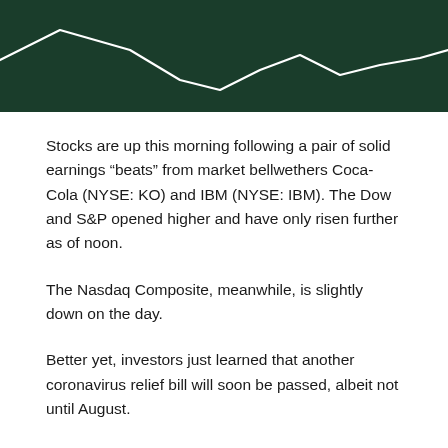[Figure (continuous-plot): Dark green background with a white line chart showing a stock market trend with a downward movement followed by fluctuation, partially visible at the top of the page.]
Stocks are up this morning following a pair of solid earnings “beats” from market bellwethers Coca-Cola (NYSE: KO) and IBM (NYSE: IBM). The Dow and S&P opened higher and have only risen further as of noon.
The Nasdaq Composite, meanwhile, is slightly down on the day.
Better yet, investors just learned that another coronavirus relief bill will soon be passed, albeit not until August.
“I envision that this bill doesn’t get done by the end of July,” said House Minority Leader Kevin McCarthy (R-Calif.) in a CNBC interview. He continued, adding that he expects